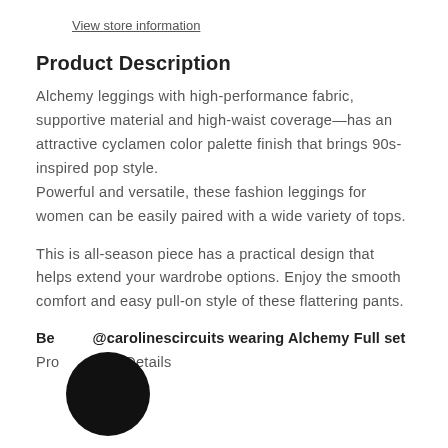View store information
Product Description
Alchemy leggings with high-performance fabric, supportive material and high-waist coverage—has an attractive cyclamen color palette finish that brings 90s-inspired pop style.
Powerful and versatile, these fashion leggings for women can be easily paired with a wide variety of tops.
This is all-season piece has a practical design that helps extend your wardrobe options. Enjoy the smooth comfort and easy pull-on style of these flattering pants.
Be @carolinescircuits wearing Alchemy Full set
Product Details